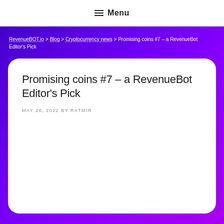☰ Menu
RevenueBOT.io > Blog > Cryptocurrency news > Promising coins #7 – a RevenueBot Editor's Pick
Promising coins #7 – a RevenueBot Editor's Pick
MAY 26, 2022 BY RATMIR